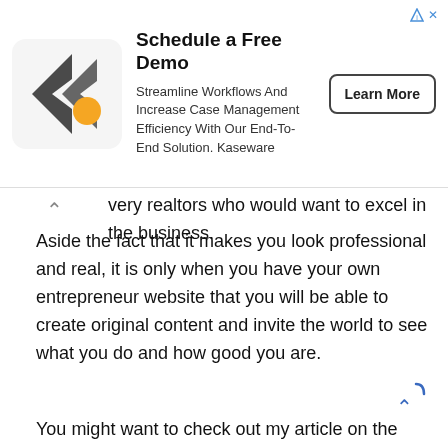[Figure (other): Advertisement banner for Kaseware. Features a logo (dark grey chevron/arrow with yellow circle), headline 'Schedule a Free Demo', subtext 'Streamline Workflows And Increase Case Management Efficiency With Our End-To-End Solution. Kaseware', and a 'Learn More' button. Has an ad disclosure icon in the top right corner.]
very realtors who would want to excel in the business. Aside the fact that it makes you look professional and real, it is only when you have your own entrepreneur website that you will be able to create original content and invite the world to see what you do and how good you are.
You might want to check out my article on the advantages of building a website for your business.